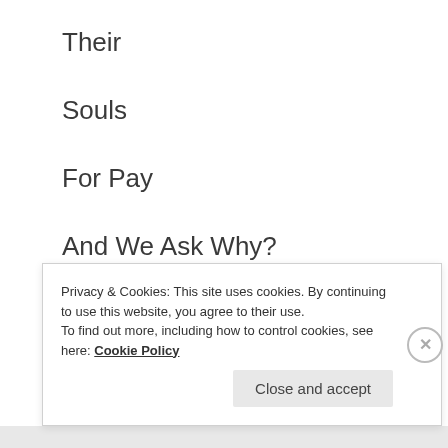Their
Souls
For Pay
And We Ask Why?
And We Ask?
Truly
Privacy & Cookies: This site uses cookies. By continuing to use this website, you agree to their use.
To find out more, including how to control cookies, see here: Cookie Policy
Close and accept